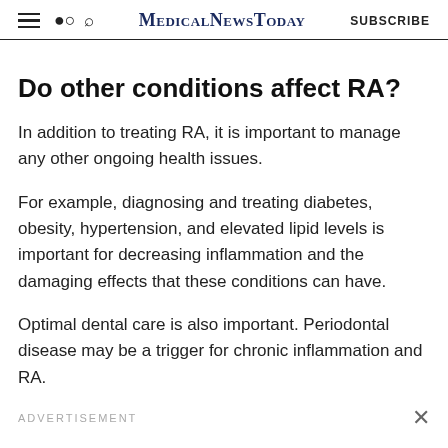MedicalNewsToday  SUBSCRIBE
Do other conditions affect RA?
In addition to treating RA, it is important to manage any other ongoing health issues.
For example, diagnosing and treating diabetes, obesity, hypertension, and elevated lipid levels is important for decreasing inflammation and the damaging effects that these conditions can have.
Optimal dental care is also important. Periodontal disease may be a trigger for chronic inflammation and RA.
ADVERTISEMENT